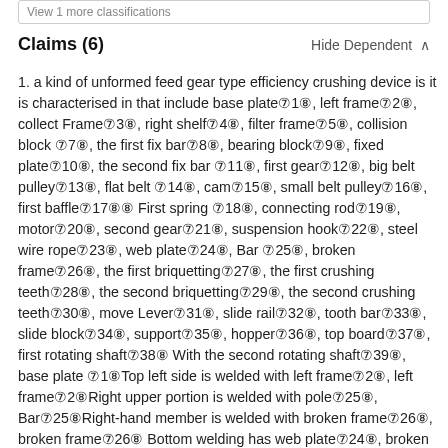View 1 more classifications
Claims (6)   Hide Dependent
1. a kind of unformed feed gear type efficiency crushing device is it is characterised in that include base plate&1&, left frame&2&, collect Frame&3&, right shelf&4&, filter frame&5&, collision block &7&, the first fix bar&8&, bearing block&9&, fixed plate&10&, the second fix bar &11&, first gear&12&, big belt pulley&13&, flat belt &14&, cam&15&, small belt pulley&16&, first baffle&17&& First spring &18&, connecting rod&19&, motor&20&, second gear&21&, suspension hook&22&, steel wire rope&23&, web plate&24&, Bar &25&, broken frame&26&, the first briquetting&27&, the first crushing teeth&28&, the second briquetting&29&, the second crushing teeth&30&, move Lever&31&, slide rail&32&, tooth bar&33&, slide block&34&, support&35&, hopper&36&, top board&37&, first rotating shaft&38& With the second rotating shaft&39&, base plate &1&Top left side is welded with left frame&2&, left frame&2&Right upper portion is welded with pole&25&, Bar&25&Right-hand member is welded with broken frame&26&, broken frame&26& Bottom welding has web plate&24&, broken frame&26&Inner left wall welds There is the first briquetting&27&, the first briquetting